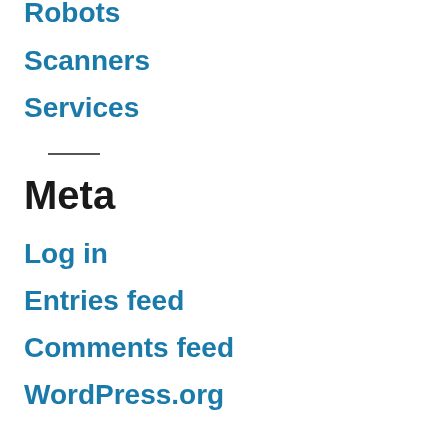Robots
Scanners
Services
Meta
Log in
Entries feed
Comments feed
WordPress.org